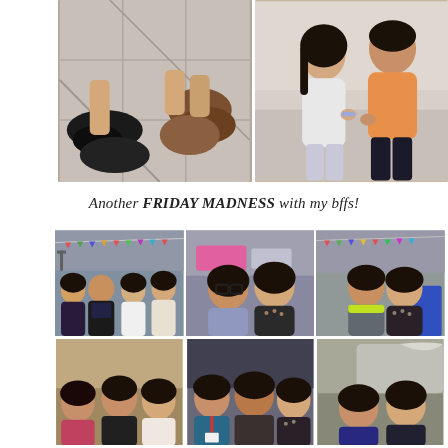[Figure (photo): Top collage of two photos: left photo shows two pairs of feet/shoes on a tiled floor (black flats and brown shoes), right photo shows a young woman and man sitting together, woman in white/grey top, man in orange shirt and dark pants]
Another FRIDAY MADNESS with my bffs!
[Figure (photo): Bottom collage of 6 photos arranged in 2 rows of 3: top row shows groups of friends at what appears to be a bowling alley or large venue with decorative banners; bottom row shows more groups of friends in the same venue and outdoors]